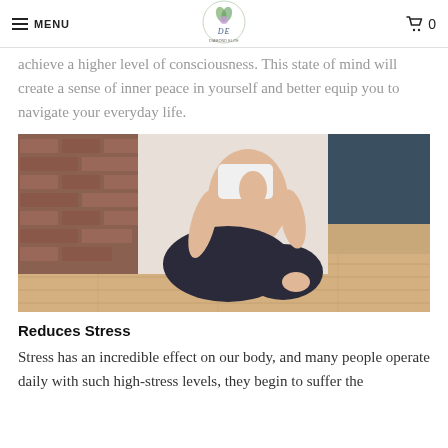MENU | Diamond Elite Health & Beauty logo | 0
achieve a higher level of consciousness. This state of mind will create a sense of inner peace in yourself and better equip you to navigate your everyday life.
[Figure (photo): Woman sitting cross-legged on a wooden floor in a meditation pose with hands pressed together at chest, wearing white sports bra and dark yoga pants, brick wall in background]
Reduces Stress
Stress has an incredible effect on our body, and many people operate daily with such high-stress levels, they begin to suffer the